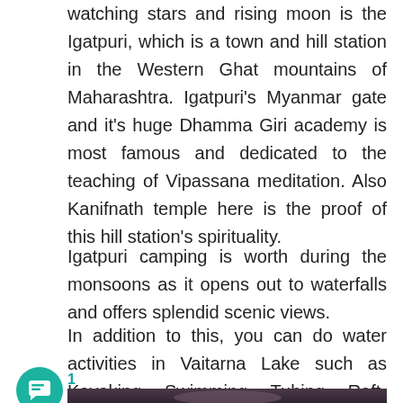watching stars and rising moon is the Igatpuri, which is a town and hill station in the Western Ghat mountains of Maharashtra. Igatpuri's Myanmar gate and it's huge Dhamma Giri academy is most famous and dedicated to the teaching of Vipassana meditation. Also Kanifnath temple here is the proof of this hill station's spirituality.
Igatpuri camping is worth during the monsoons as it opens out to waterfalls and offers splendid scenic views.
In addition to this, you can do water activities in Vaitarna Lake such as Kayaking, Swimming, Tubing, Raft-Boating.
1
[Figure (photo): A dark photo strip showing a night or dusk sky scene at the bottom of the page]